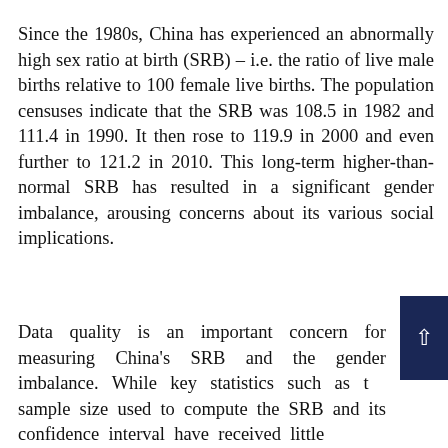Since the 1980s, China has experienced an abnormally high sex ratio at birth (SRB) – i.e. the ratio of live male births relative to 100 female live births. The population censuses indicate that the SRB was 108.5 in 1982 and 111.4 in 1990. It then rose to 119.9 in 2000 and even further to 121.2 in 2010. This long-term higher-than-normal SRB has resulted in a significant gender imbalance, arousing concerns about its various social implications.
Data quality is an important concern for measuring China's SRB and the gender imbalance. While key statistics such as the sample size used to compute the SRB and its confidence interval have received little